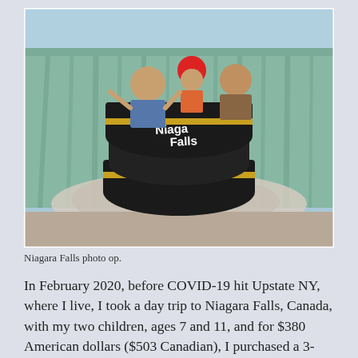[Figure (photo): Photo of people posed inside large inflatable tubes shaped like a barrel going over Niagara Falls. The tubes read 'Over Niagara Falls'. A child in a red helmet is visible at the top. The backdrop shows a waterfall scene.]
Niagara Falls photo op.
In February 2020, before COVID-19 hit Upstate NY, where I live, I took a day trip to Niagara Falls, Canada, with my two children, ages 7 and 11, and for $380 American dollars ($503 Canadian), I purchased a 3-month supply of both of my insulins (Tresiba and